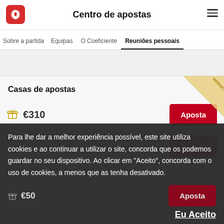Centro de apostas
Reuniões pessoais
Casas de apostas
€310
€50
Para lhe dar a melhor experiência possível, este site utiliza cookies e ao continuar a utilizar o site, concorda que os podemos guardar no seu dispositivo. Ao clicar em "Aceito", concorda com o uso de cookies, a menos que as tenha desativado.